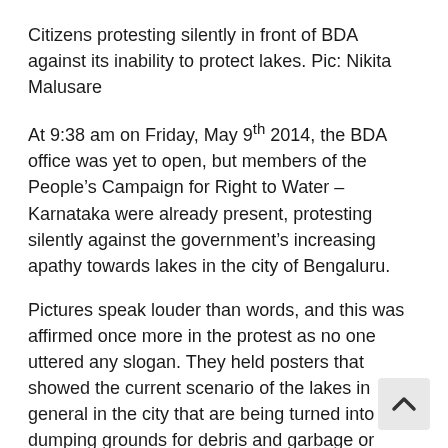Citizens protesting silently in front of BDA against its inability to protect lakes. Pic: Nikita Malusare
At 9:38 am on Friday, May 9th 2014, the BDA office was yet to open, but members of the People’s Campaign for Right to Water – Karnataka were already present, protesting silently against the government’s increasing apathy towards lakes in the city of Bengaluru.
Pictures speak louder than words, and this was affirmed once more in the protest as no one uttered any slogan. They held posters that showed the current scenario of the lakes in general in the city that are being turned into dumping grounds for debris and garbage or encroached to make way for roads.
Friday’s protest was against the dumping of debris atChunchugatta lake in South Bangalore, not even a